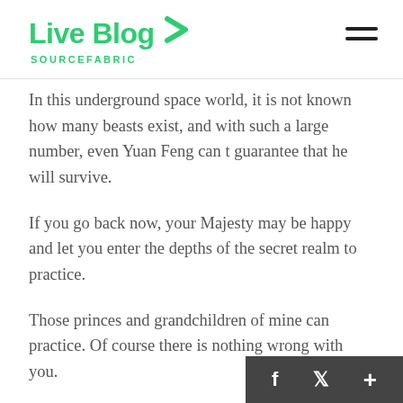Live Blog SOURCEFABRIC
In this underground space world, it is not known how many beasts exist, and with such a large number, even Yuan Feng can t guarantee that he will survive.
If you go back now, your Majesty may be happy and let you enter the depths of the secret realm to practice.
Those princes and grandchildren of mine can practice. Of course there is nothing wrong with you.
During the period, they sex vitamin for male watched sex vitamin for male from a distance several times, and with observation after observation, they all found that Yuan Feng Obviously, his swordsmanship is getting stronger and stronger, and this kind of progress is naturally in… from Chu Wenyuan s guidance.